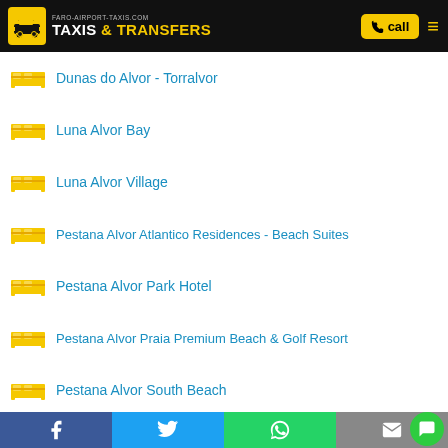faro-airport-taxis.com TAXIS & TRANSFERS — call
Dunas do Alvor - Torralvor
Luna Alvor Bay
Luna Alvor Village
Pestana Alvor Atlantico Residences - Beach Suites
Pestana Alvor Park Hotel
Pestana Alvor Praia Premium Beach & Golf Resort
Pestana Alvor South Beach
Pestana Delfim Beach & Golf Resort
Pestana Dom Joao II
Prainha Club Resort
Torralta
Villa Nautilus
Vitor's Plaza
Facebook | Twitter | WhatsApp | Email